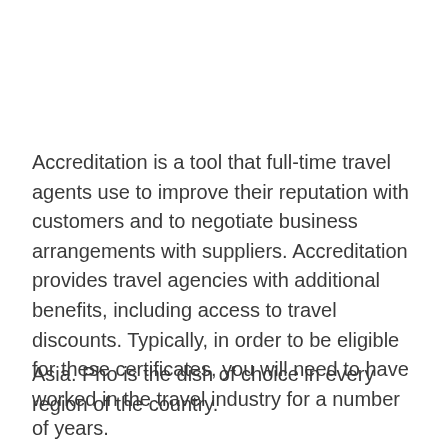Accreditation is a tool that full-time travel agents use to improve their reputation with customers and to negotiate business arrangements with suppliers. Accreditation provides travel agencies with additional benefits, including access to travel discounts. Typically, in order to be eligible for these certificates, you will need to have worked in the travel industry for a number of years.
Asia. Pho is the dish of choice in every region of the country.